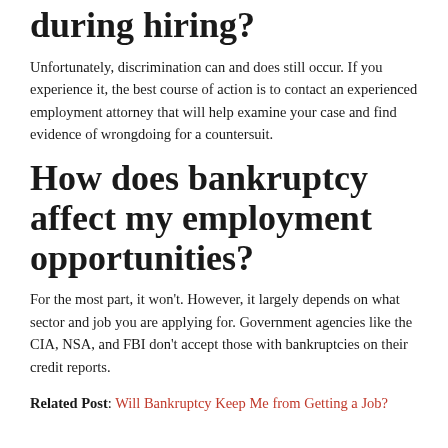during hiring?
Unfortunately, discrimination can and does still occur. If you experience it, the best course of action is to contact an experienced employment attorney that will help examine your case and find evidence of wrongdoing for a countersuit.
How does bankruptcy affect my employment opportunities?
For the most part, it won't. However, it largely depends on what sector and job you are applying for. Government agencies like the CIA, NSA, and FBI don't accept those with bankruptcies on their credit reports.
Related Post: Will Bankruptcy Keep Me from Getting a Job?